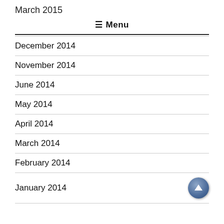March 2015
≡ Menu
December 2014
November 2014
June 2014
May 2014
April 2014
March 2014
February 2014
January 2014